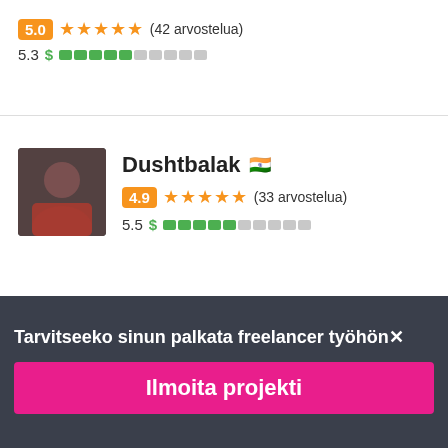5.0 ★★★★★ (42 arvostelua)
5.3 $ ■■■■■□□□□□
Dushtbalak 🇮🇳
4.9 ★★★★★ (33 arvostelua)
5.5 $ ■■■■■□□□□□
Tarvitseeko sinun palkata freelancer työhön✕
Ilmoita projekti